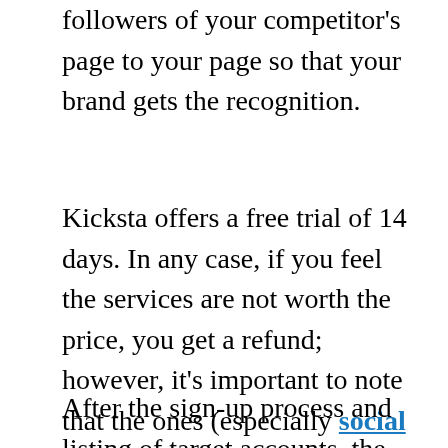followers of your competitor's page to your page so that your brand gets the recognition.
Kicksta offers a free trial of 14 days. In any case, if you feel the services are not worth the price, you get a refund; however, it's important to note that the ones (especially social media managers, PR companies and Digital agencies) who gain success are those who have been working with Kicksta for a reasonable amount of time.
After the sign-up process and listing of target accounts, the system starts to work so that it...